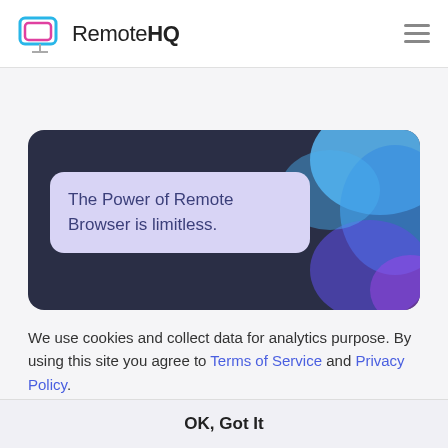RemoteHQ
[Figure (screenshot): RemoteHQ banner with dark navy background and decorative blue blobs, containing a light purple speech bubble with the text: The Power of Remote Browser is limitless.]
We use cookies and collect data for analytics purpose. By using this site you agree to Terms of Service and Privacy Policy.
OK, Got It